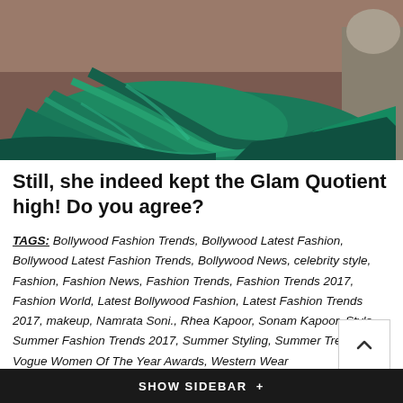[Figure (photo): Lower portion of a woman wearing a flowing emerald green satin gown, dress pooling on the floor, brown wooden floor visible]
Still, she indeed kept the Glam Quotient high! Do you agree?
TAGS: Bollywood Fashion Trends, Bollywood Latest Fashion, Bollywood Latest Fashion Trends, Bollywood News, celebrity style, Fashion, Fashion News, Fashion Trends, Fashion Trends 2017, Fashion World, Latest Bollywood Fashion, Latest Fashion Trends 2017, makeup, Namrata Soni., Rhea Kapoor, Sonam Kapoor, Style, Summer Fashion Trends 2017, Summer Styling, Summer Trends, Vogue Women Of The Year Awards, Western Wear
← Older Post   Newer Post →
SHOW SIDEBAR +